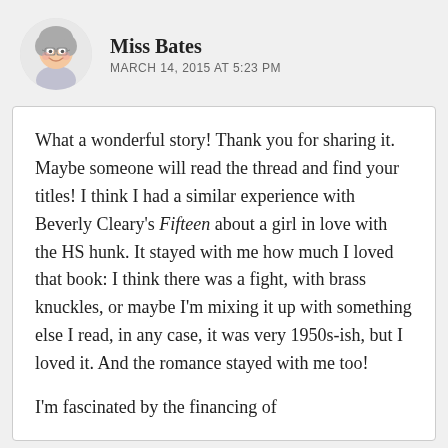[Figure (illustration): Circular avatar of an animated elderly woman with gray hair and glasses, smiling]
Miss Bates
MARCH 14, 2015 AT 5:23 PM
What a wonderful story! Thank you for sharing it. Maybe someone will read the thread and find your titles! I think I had a similar experience with Beverly Cleary's Fifteen about a girl in love with the HS hunk. It stayed with me how much I loved that book: I think there was a fight, with brass knuckles, or maybe I'm mixing it up with something else I read, in any case, it was very 1950s-ish, but I loved it. And the romance stayed with me too!
I'm fascinated by the financing of